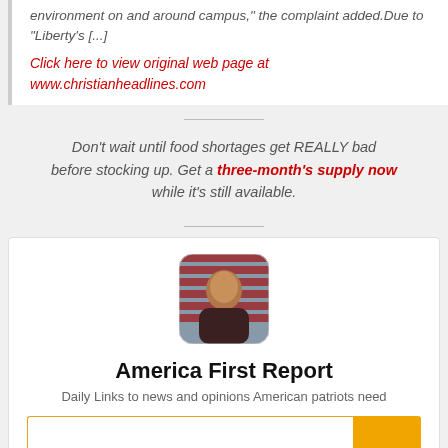environment on and around campus," the complaint added.Due to "Liberty's [...]
Click here to view original web page at www.christianheadlines.com
Don't wait until food shortages get REALLY bad before stocking up. Get a three-month's supply now while it's still available.
[Figure (photo): Profile photo of a man with American flag background, rounded square avatar]
America First Report
Daily Links to news and opinions American patriots need